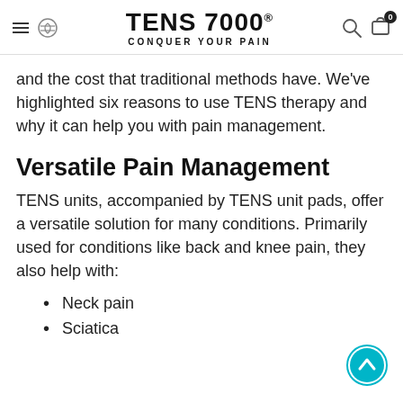TENS 7000 CONQUER YOUR PAIN
and the cost that traditional methods have. We've highlighted six reasons to use TENS therapy and why it can help you with pain management.
Versatile Pain Management
TENS units, accompanied by TENS unit pads, offer a versatile solution for many conditions. Primarily used for conditions like back and knee pain, they also help with:
Neck pain
Sciatica